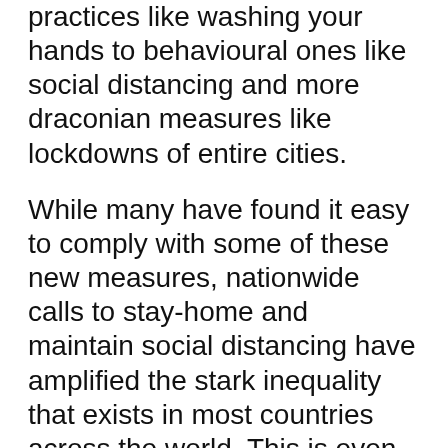practices like washing your hands to behavioural ones like social distancing and more draconian measures like lockdowns of entire cities.
While many have found it easy to comply with some of these new measures, nationwide calls to stay-home and maintain social distancing have amplified the stark inequality that exists in most countries across the world. This is even more evident in developing regions in East Asia and Sub-Saharan Africa where the population is booming and poverty is rife.
The informal economy in Africa
A significant proportion of Africa's population depend on the informal economy for their survival. These are your